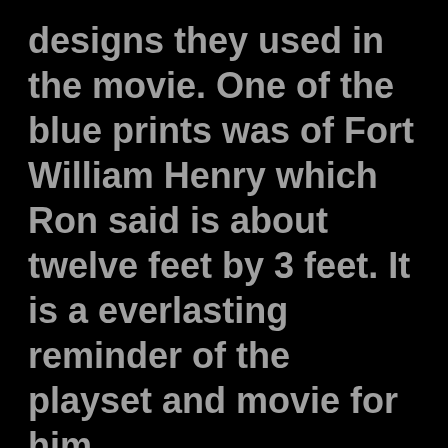designs they used in the movie. One of the blue prints was of Fort William Henry which Ron said is about twelve feet by 3 feet. It is a everlasting reminder of the playset and movie for him.